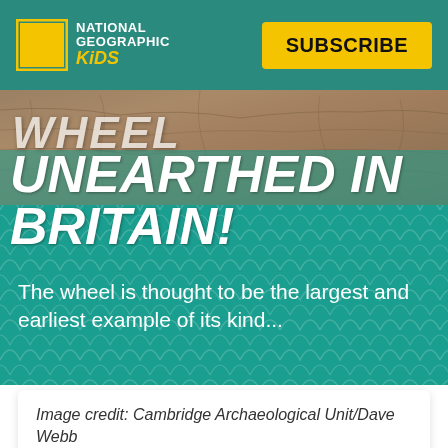NATIONAL GEOGRAPHIC KiDS — SUBSCRIBE
[Figure (photo): Stone/rocky texture background photo for article about ancient wheel unearthed in Britain]
UNEARTHED IN BRITAIN!
The wheel is thought to be the largest and earliest example of its kind...
Image credit: Cambridge Archaeological Unit/Dave Webb
An ancient wheel dating back from